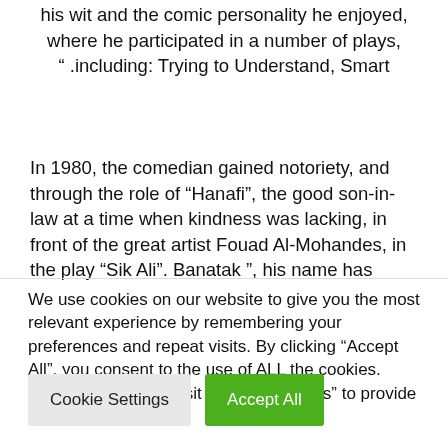his wit and the comic personality he enjoyed, where he participated in a number of plays, “ .including: Trying to Understand, Smart
In 1980, the comedian gained notoriety, and through the role of “Hanafi”, the good son-in-law at a time when kindness was lacking, in front of the great artist Fouad Al-Mohandes, in the play “Sik Ali”. Banatak ”, his name has been etched in the audience’s memory until
We use cookies on our website to give you the most relevant experience by remembering your preferences and repeat visits. By clicking “Accept All”, you consent to the use of ALL the cookies. However, you may visit "Cookie Settings" to provide a controlled consent.